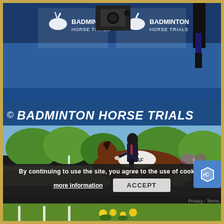[Figure (photo): Badminton Horse Trials branding banner with logos on blue background showing arena equipment and officials]
© BADMINTON HORSE TRIALS
[Figure (photo): Equestrian dressage rider in black coat and helmet on a bay horse performing at Badminton Horse Trials, green trees in background, sponsors banners visible]
By continuing to use the site, you agree to the use of cookies.
more information
ACCEPT
Privacy - Terms
[Figure (photo): Bottom strip showing green grass arena with flower decorations, partially visible]